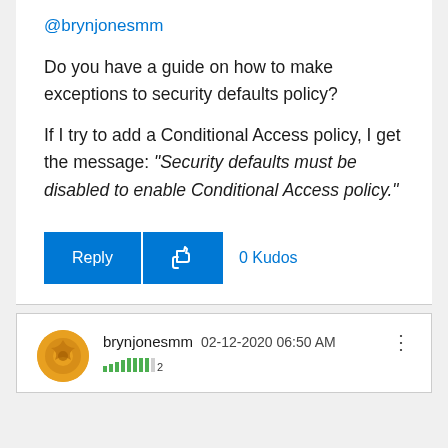@brynjonesmm
Do you have a guide on how to make exceptions to security defaults policy?
If I try to add a Conditional Access policy, I get the message: "Security defaults must be disabled to enable Conditional Access policy."
Reply | 0 Kudos
brynjonesmm 02-12-2020 06:50 AM